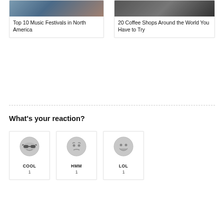[Figure (photo): Top of article card with photo of person at music setup, seen from behind]
Top 10 Music Festivals in North America
[Figure (photo): Top of article card with photo of coffee shop or dark interior scene]
20 Coffee Shops Around the World You Have to Try
What's your reaction?
[Figure (infographic): Reaction button with cool sunglasses emoji, label COOL, count 1]
[Figure (infographic): Reaction button with hmm face emoji, label HMM, count 1]
[Figure (infographic): Reaction button with laughing emoji, label LOL, count 1]